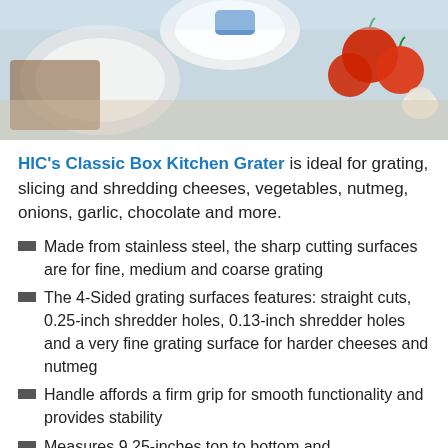[Figure (photo): Kitchen scene with tomatoes, garlic, cutting board and dishes on a table]
HIC's Classic Box Kitchen Grater is ideal for grating, slicing and shredding cheeses, vegetables, nutmeg, onions, garlic, chocolate and more.
Made from stainless steel, the sharp cutting surfaces are for fine, medium and coarse grating
The 4-Sided grating surfaces features: straight cuts, 0.25-inch shredder holes, 0.13-inch shredder holes and a very fine grating surface for harder cheeses and nutmeg
Handle affords a firm grip for smooth functionality and provides stability
Measures 9.25-inches top to bottom and approximately 4.25-inches x 3.5-inches across